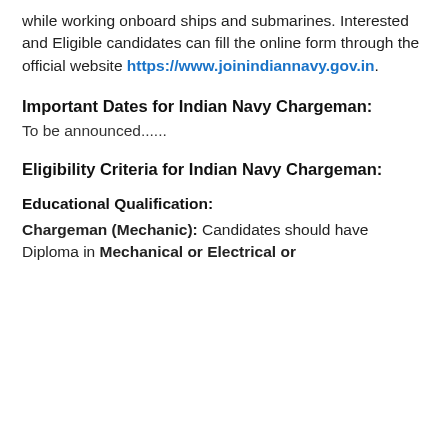while working onboard ships and submarines. Interested and Eligible candidates can fill the online form through the official website https://www.joinindiannavy.gov.in.
Important Dates for Indian Navy Chargeman:
To be announced......
Eligibility Criteria for Indian Navy Chargeman:
Educational Qualification:
Chargeman (Mechanic): Candidates should have Diploma in Mechanical or Electrical or